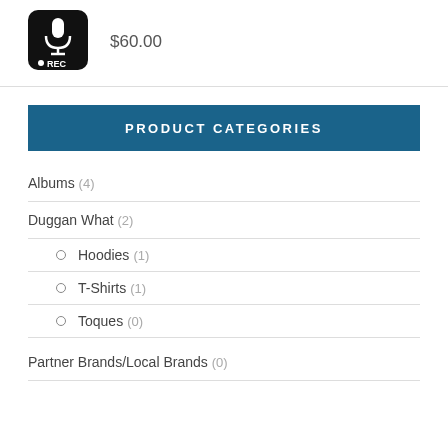[Figure (illustration): Black rounded square icon with microphone symbol and REC label]
$60.00
PRODUCT CATEGORIES
Albums (4)
Duggan What (2)
Hoodies (1)
T-Shirts (1)
Toques (0)
Partner Brands/Local Brands (0)